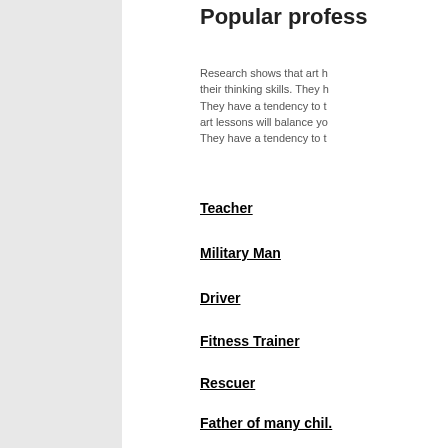Popular profess...
Research shows that art h... their thinking skills. They h... They have a tendency to t... art lessons will balance yo... They have a tendency to t...
Teacher
Military Man
Driver
Fitness Trainer
Rescuer
Father of many chil.
Financier